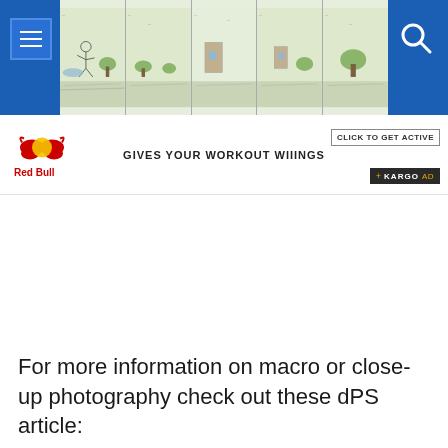[Figure (screenshot): Website navigation bar with blue background, hamburger menu icon on left, comic strip illustration panels in center, and search icon on right]
[Figure (advertisement): Red Bull advertisement banner: logo on left, text 'GIVES YOUR WORKOUT WIIINGS' in center, 'CLICK TO GET ACTIVE' button and 'KARGO AD' tag on right]
For more information on macro or close-up photography check out these dPS article: